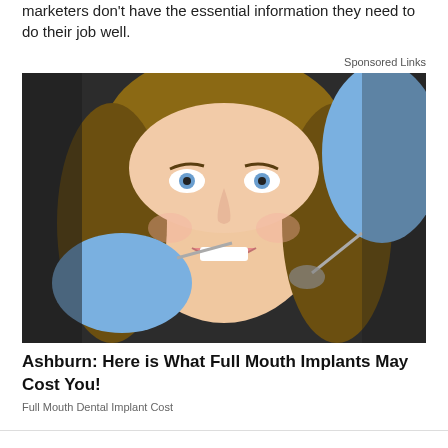marketers don't have the essential information they need to do their job well.
Sponsored Links
[Figure (photo): A young woman smiling at a dental clinic with blue-gloved hands of a dentist holding dental instruments near her mouth.]
Ashburn: Here is What Full Mouth Implants May Cost You!
Full Mouth Dental Implant Cost